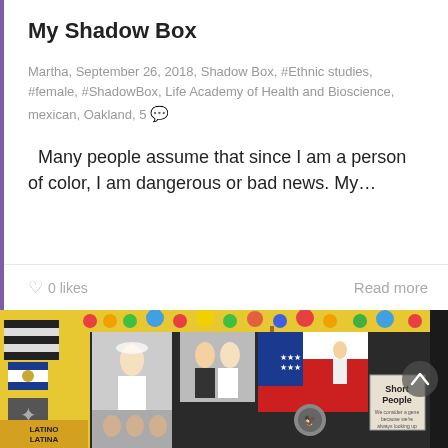My Shadow Box
Martha, September 26, 2018, Shadow Box, #Ethnic studies, #female, #ShadowBox, Life Academy of Health and Bioscience, mexican, Oakland, 5 💬
Many people assume that since I am a person of color, I am dangerous or bad news. My…
0 likes
Read more
[Figure (photo): A photograph of a shadow box project showing various items including flags, photographs of people, and a book titled 'Short People', displayed on a colorful decorated frame.]